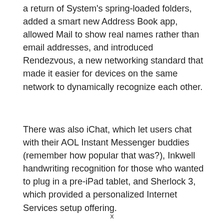a return of System's spring-loaded folders, added a smart new Address Book app, allowed Mail to show real names rather than email addresses, and introduced Rendezvous, a new networking standard that made it easier for devices on the same network to dynamically recognize each other.
There was also iChat, which let users chat with their AOL Instant Messenger buddies (remember how popular that was?), Inkwell handwriting recognition for those who wanted to plug in a pre-iPad tablet, and Sherlock 3, which provided a personalized Internet Services setup offering.
x